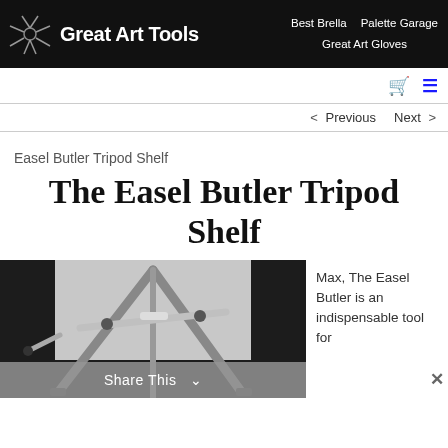Great Art Tools | Best Brella | Palette Garage | Great Art Gloves
< Previous   Next >
Easel Butler Tripod Shelf
The Easel Butler Tripod Shelf
[Figure (photo): Photo of tripod easel legs/shelf mechanism, metal construction on dark background]
Share This
Max, The Easel Butler is an indispensable tool for